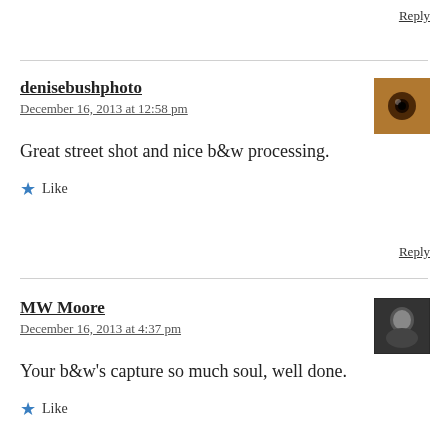Reply
denisebushphoto
December 16, 2013 at 12:58 pm
[Figure (photo): Avatar thumbnail showing close-up of an eye with warm brown tones]
Great street shot and nice b&w processing.
Like
Reply
MW Moore
December 16, 2013 at 4:37 pm
[Figure (photo): Avatar thumbnail showing a person in dark tones, black and white photo]
Your b&w's capture so much soul, well done.
Like